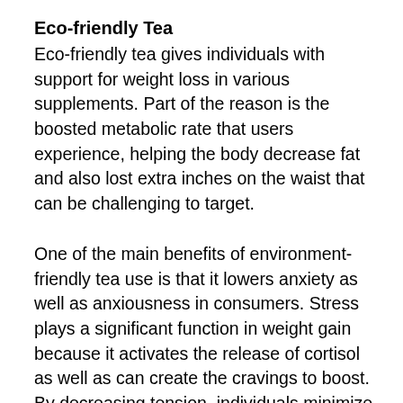Eco-friendly Tea
Eco-friendly tea gives individuals with support for weight loss in various supplements. Part of the reason is the boosted metabolic rate that users experience, helping the body decrease fat and also lost extra inches on the waist that can be challenging to target.
One of the main benefits of environment-friendly tea use is that it lowers anxiety as well as anxiousness in consumers. Stress plays a significant function in weight gain because it activates the release of cortisol as well as can create the cravings to boost. By decreasing tension, individuals minimize their danger of putting a lot more strain on